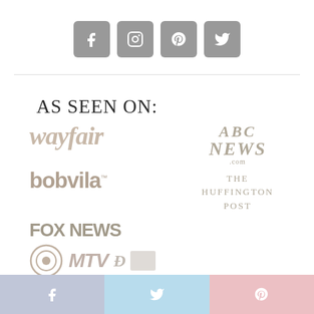[Figure (infographic): Four social media icon buttons (Facebook, Instagram, Pinterest, Twitter) displayed as grey rounded squares in a horizontal row]
AS SEEN ON:
[Figure (infographic): Media logos: wayfair, ABC News.com, bobvila, The Huffington Post, FOX NEWS, CBS, MTV, and more logos shown in muted grey/beige tones]
[Figure (infographic): Bottom share bar with three sections: Facebook (blue-grey), Twitter (light blue), Pinterest (pink), each with their respective icons]